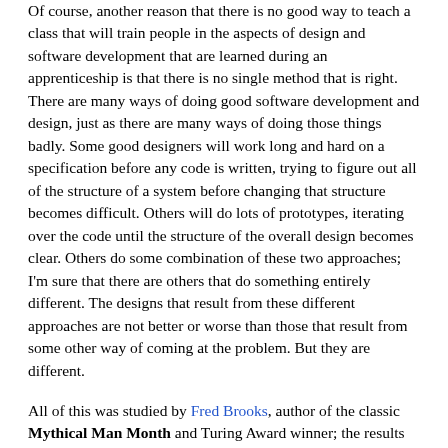Of course, another reason that there is no good way to teach a class that will train people in the aspects of design and software development that are learned during an apprenticeship is that there is no single method that is right. There are many ways of doing good software development and design, just as there are many ways of doing those things badly. Some good designers will work long and hard on a specification before any code is written, trying to figure out all of the structure of a system before changing that structure becomes difficult. Others will do lots of prototypes, iterating over the code until the structure of the overall design becomes clear. Others do some combination of these two approaches; I'm sure that there are others that do something entirely different. The designs that result from these different approaches are not better or worse than those that result from some other way of coming at the problem. But they are different.
All of this was studied by Fred Brooks, author of the classic Mythical Man Month and Turing Award winner; the results of his study led to his papers on the design of design. His conclusion, which surprises few good software engineers but dismays many in management, is that good design comes from good